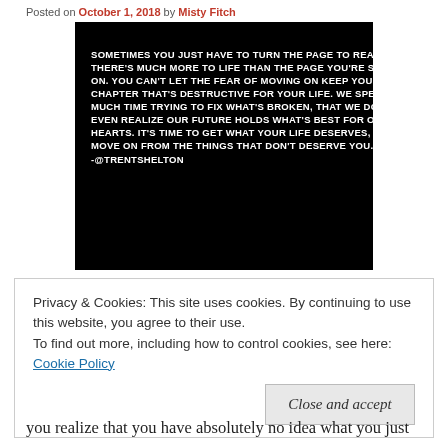Posted on October 1, 2018 by Misty Fitch
[Figure (illustration): Black background image with white bold text reading: SOMETIMES YOU JUST HAVE TO TURN THE PAGE TO REALIZE THERE'S MUCH MORE TO LIFE THAN THE PAGE YOU'RE STUCK ON. YOU CAN'T LET THE FEAR OF MOVING ON KEEP YOU IN A CHAPTER THAT'S DESTRUCTIVE FOR YOUR LIFE. WE SPEND SO MUCH TIME TRYING TO FIX WHAT'S BROKEN, THAT WE DON'T EVEN REALIZE OUR FUTURE HOLDS WHAT'S BEST FOR OUR HEARTS. IT'S TIME TO GET WHAT YOUR LIFE DESERVES, AND MOVE ON FROM THE THINGS THAT DON'T DESERVE YOU. -@TRENTSHELTON]
Privacy & Cookies: This site uses cookies. By continuing to use this website, you agree to their use. To find out more, including how to control cookies, see here: Cookie Policy
you realize that you have absolutely no idea what you just